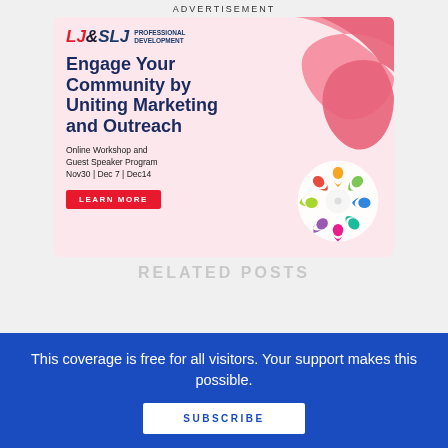ADVERTISEMENT
[Figure (illustration): LJ&SLJ Professional Development advertisement banner. Features a pink wave background, bold headline 'Engage Your Community by Uniting Marketing and Outreach', subtext about Online Workshop and Guest Speaker Program on Nov30, Dec 7, Dec14, a red LEARN MORE button, and a colorful circular community figures logo.]
RELATED POSTS
This coverage is free for all visitors. Your support makes this possible.
SUBSCRIBE